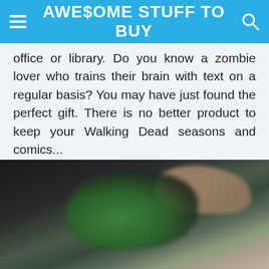AWESOME STUFF TO BUY
office or library. Do you know a zombie lover who trains their brain with text on a regular basis? You may have just found the perfect gift. There is no better product to keep your Walking Dead seasons and comics...
$12.53
VIEW ON AMAZON >
[Figure (photo): Blurred close-up photo of hands holding a green item, dark background]